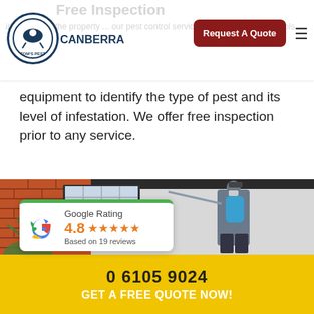Free inspection
inspection of the property ... our pest control services. We use advanced tools and equipment to identify the type of pest and its level of infestation. We offer free inspection prior to any service.
[Figure (photo): A pest control worker wearing a blue backpack sprayer and cap, spraying the exterior wall of a building with a wand. There is a brick wall, glass block window, white/grey wall, and some foliage in the foreground.]
Google Rating
4.8
Based on 19 reviews
0 6105 9024
GET A FREE QUOTE NOW!